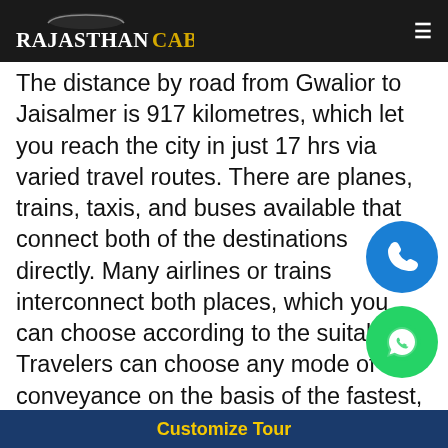RajasthanCab (navigation bar with logo and hamburger menu)
The distance by road from Gwalior to Jaisalmer is 917 kilometres, which let you reach the city in just 17 hrs via varied travel routes. There are planes, trains, taxis, and buses available that connect both of the destinations directly. Many airlines or trains interconnect both places, which you can choose according to the suitability. Travelers can choose any mode of conveyance on the basis of the fastest, cheapest, or recommended mode of Rajasthan Cab. We suggest taking a train via Marwar Junction and reaching Jaisalmer in next 18 hrs after you board a train. For getting around in Jaisalmer, take car rental services in Jaisalmer and travel freely.

Here, we have mentioned some of the best
Customize Tour